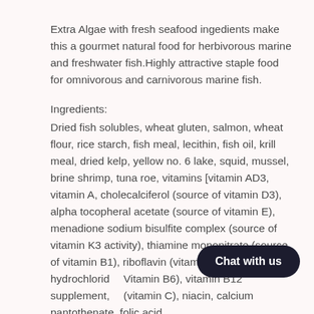Extra Algae with fresh seafood ingedients make this a gourmet natural food for herbivorous marine and freshwater fish.Highly attractive staple food for omnivorous and carnivorous marine fish.
Ingredients:
Dried fish solubles, wheat gluten, salmon, wheat flour, rice starch, fish meal, lecithin, fish oil, krill meal, dried kelp, yellow no. 6 lake, squid, mussel, brine shrimp, tuna roe, vitamins [vitamin AD3, vitamin A, cholecalciferol (source of vitamin D3), alpha tocopheral acetate (source of vitamin E), menadione sodium bisulfite complex (source of vitamin K3 activity), thiamine mononitrate (source of vitamin B1), riboflavin (vitamin B2), pyridoxine hydrochlorid… Vitamin B6), vitamin B12 supplement, (vitamin C), niacin, calcium pantothenate, folic acid,
Chat with us